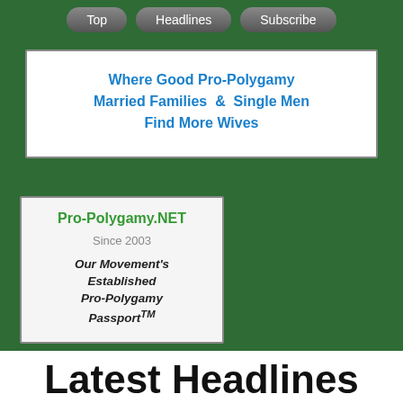Top | Headlines | Subscribe
[Figure (other): Advertisement box: Where Good Pro-Polygamy Married Families & Single Men Find More Wives]
[Figure (other): Pro-Polygamy.NET box: Since 2003, Our Movement's Established Pro-Polygamy Passport TM]
Latest Headlines
From the Archives of Pro-Polygamy Articles TM